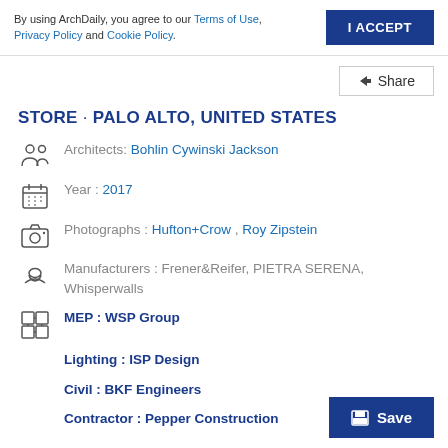By using ArchDaily, you agree to our Terms of Use, Privacy Policy and Cookie Policy.
I ACCEPT
Share
STORE · PALO ALTO, UNITED STATES
Architects: Bohlin Cywinski Jackson
Year: 2017
Photographs: Hufton+Crow , Roy Zipstein
Manufacturers: Frener&Reifer, PIETRA SERENA, Whisperwalls
MEP: WSP Group
Lighting: ISP Design
Civil: BKF Engineers
Contractor: Pepper Construction
Save